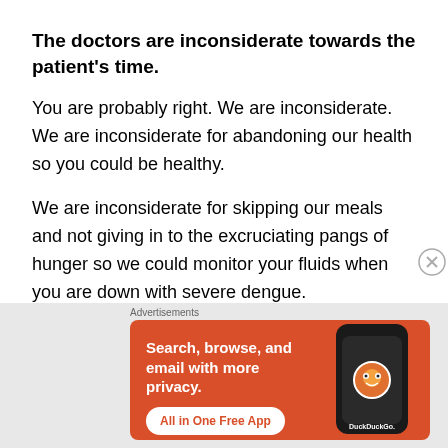The doctors are inconsiderate towards the patient's time.
You are probably right. We are inconsiderate. We are inconsiderate for abandoning our health so you could be healthy.
We are inconsiderate for skipping our meals and not giving in to the excruciating pangs of hunger so we could monitor your fluids when you are down with severe dengue.
[Figure (screenshot): DuckDuckGo advertisement banner with orange background reading 'Search, browse, and email with more privacy. All in One Free App' with a phone graphic and DuckDuckGo logo]